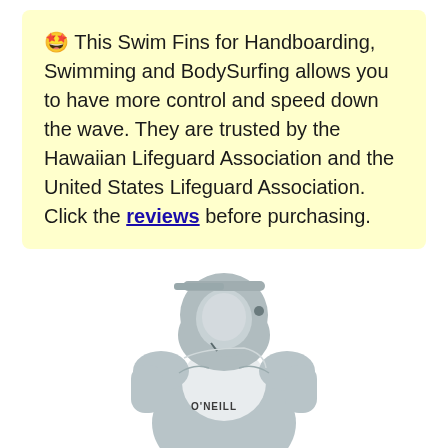🤩 This Swim Fins for Handboarding, Swimming and BodySurfing allows you to have more control and speed down the wave. They are trusted by the Hawaiian Lifeguard Association and the United States Lifeguard Association. Click the reviews before purchasing.
[Figure (photo): A mannequin or figure wearing a gray O'Neill hooded wetsuit with white panel on chest and shoulders, viewed from the front/side.]